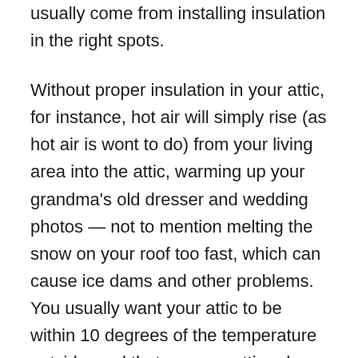usually come from installing insulation in the right spots.
Without proper insulation in your attic, for instance, hot air will simply rise (as hot air is wont to do) from your living area into the attic, warming up your grandma’s old dresser and wedding photos — not to mention melting the snow on your roof too fast, which can cause ice dams and other problems. You usually want your attic to be within 10 degrees of the temperature outside, and that means putting down a thick layer of insulation on the attic floor to keep warm air in your bedroom or living room where it belongs.